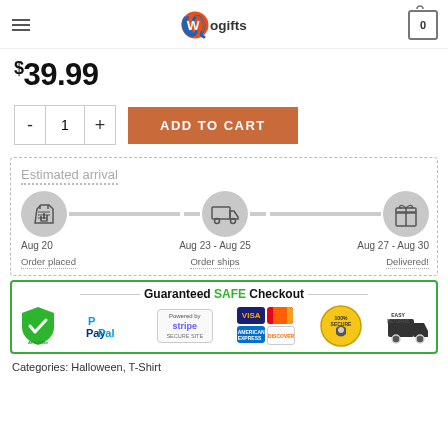[Figure (logo): Wogifts logo with orange and blue swoosh W icon]
$39.99
[Figure (infographic): Quantity selector with minus, 1, plus buttons and ADD TO CART orange button]
[Figure (infographic): Estimated arrival timeline: Aug 20 Order placed, Aug 23-Aug 25 Order ships, Aug 27-Aug 30 Delivered!]
[Figure (infographic): Guaranteed SAFE Checkout banner with PayPal, Stripe, Visa, MasterCard, AmEx, Discover, 100% Secure seal, Easy Returns icons]
Categories: Halloween, T-Shirt